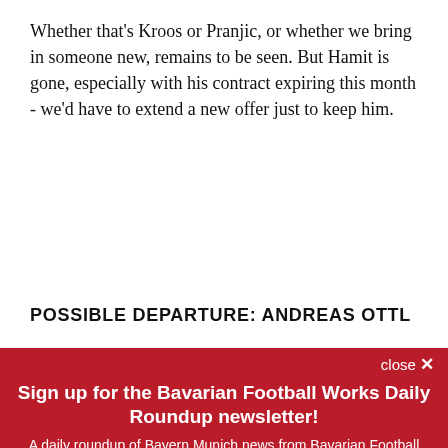Whether that's Kroos or Pranjic, or whether we bring in someone new, remains to be seen. But Hamit is gone, especially with his contract expiring this month - we'd have to extend a new offer just to keep him.
POSSIBLE DEPARTURE: ANDREAS OTTL
close ×
Sign up for the Bavarian Football Works Daily Roundup newsletter!
A daily roundup of Bayern Munich news from Bavarian Football Works
Email (required)
SUBSCRIBE
By submitting your email, you agree to our Terms and Privacy Notice. You can opt out at any time. This site is protected by reCAPTCHA and the Google Privacy Policy and Terms of Service apply.